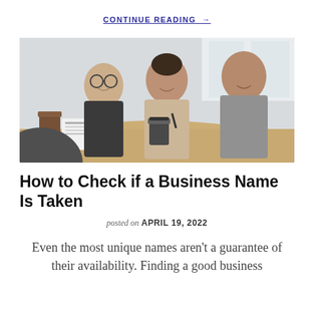CONTINUE READING →
[Figure (photo): Three smiling business professionals sitting around a conference table with documents, charts, and coffee cups. Two men and one woman in business attire laughing and collaborating.]
How to Check if a Business Name Is Taken
posted on APRIL 19, 2022
Even the most unique names aren't a guarantee of their availability. Finding a good business